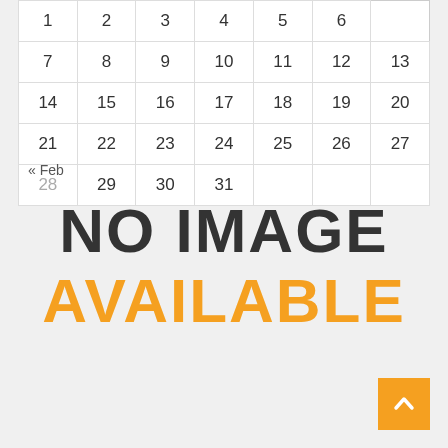| 1 | 2 | 3 | 4 | 5 | 6 |
| 7 | 8 | 9 | 10 | 11 | 12 | 13 |
| 14 | 15 | 16 | 17 | 18 | 19 | 20 |
| 21 | 22 | 23 | 24 | 25 | 26 | 27 |
| 28 | 29 | 30 | 31 |  |  |  |
« Feb
[Figure (other): NO IMAGE AVAILABLE placeholder graphic with orange and dark text]
[Figure (other): Orange back-to-top button with upward arrow]